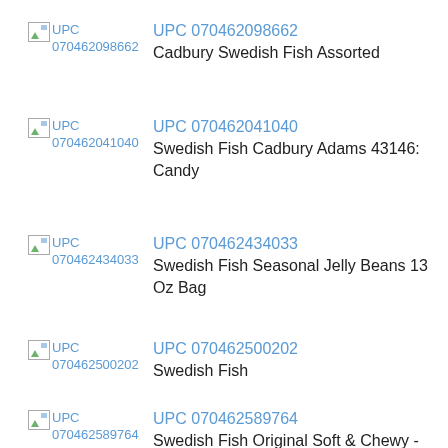UPC 070462098662
Cadbury Swedish Fish Assorted
UPC 070462041040
Swedish Fish Cadbury Adams 43146: Candy
UPC 070462434033
Swedish Fish Seasonal Jelly Beans 13 Oz Bag
UPC 070462500202
Swedish Fish
UPC 070462589764
Swedish Fish Original Soft & Chewy - Assorted